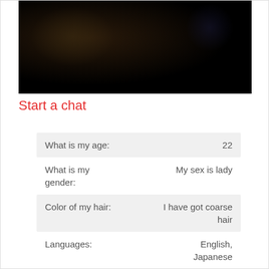[Figure (photo): Dark, mostly black photo showing faint outlines of objects against a black background]
Start a chat
| Field | Value |
| --- | --- |
| What is my age: | 22 |
| What is my gender: | My sex is lady |
| Color of my hair: | I have got coarse hair |
| Languages: | English, Japanese |